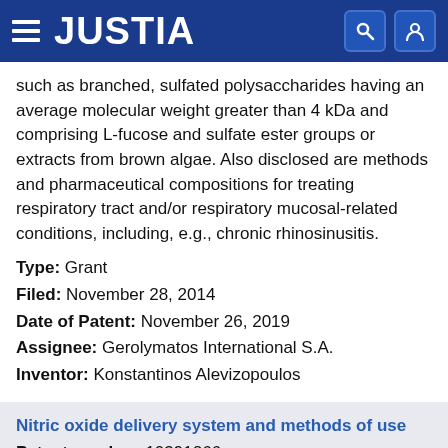JUSTIA
such as branched, sulfated polysaccharides having an average molecular weight greater than 4 kDa and comprising L-fucose and sulfate ester groups or extracts from brown algae. Also disclosed are methods and pharmaceutical compositions for treating respiratory tract and/or respiratory mucosal-related conditions, including, e.g., chronic rhinosinusitis.
Type: Grant
Filed: November 28, 2014
Date of Patent: November 26, 2019
Assignee: Gerolymatos International S.A.
Inventor: Konstantinos Alevizopoulos
Nitric oxide delivery system and methods of use
Patent number: 10391266
Abstract: Embodiments of the present disclosure